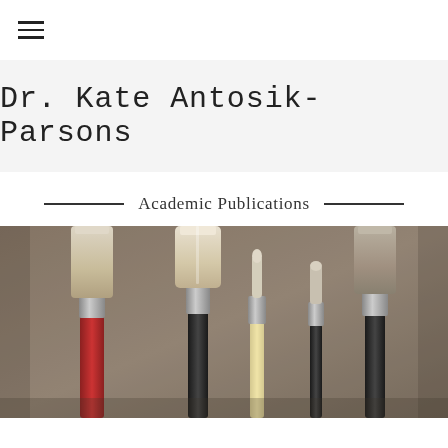≡
Dr. Kate Antosik-Parsons
Academic Publications
[Figure (photo): Close-up photo of multiple artist paintbrushes of various sizes standing upright in a container, with a blurred grey/brown background]